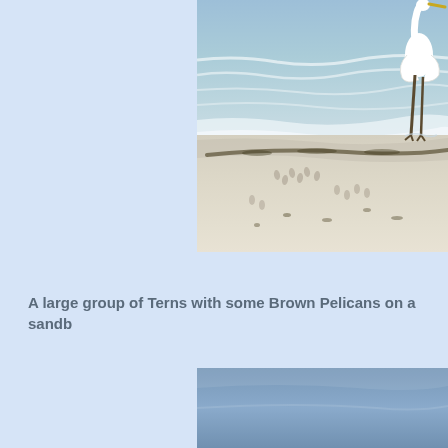[Figure (photo): A white egret/heron standing in shallow water at a beach with sandy shore, waves, and seaweed line visible. Photo is cropped, occupying the upper right portion of the page.]
A large group of Terns with some Brown Pelicans on a sandb...
[Figure (photo): Partial photo visible at bottom right, showing a blue-grey sky or water scene, heavily cropped.]